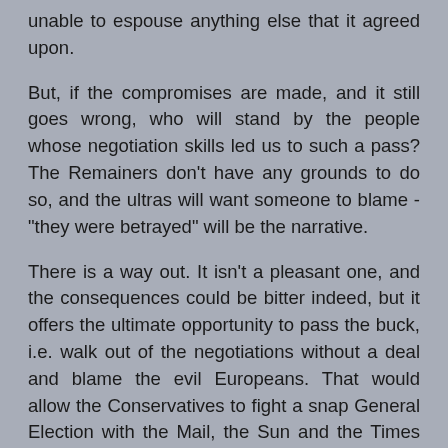unable to espouse anything else that it agreed upon.
But, if the compromises are made, and it still goes wrong, who will stand by the people whose negotiation skills led us to such a pass? The Remainers don't have any grounds to do so, and the ultras will want someone to blame - "they were betrayed" will be the narrative.
There is a way out. It isn't a pleasant one, and the consequences could be bitter indeed, but it offers the ultimate opportunity to pass the buck, i.e. walk out of the negotiations without a deal and blame the evil Europeans. That would allow the Conservatives to fight a snap General Election with the Mail, the Sun and the Times waving the Union Jack and denouncing anyone who questions their actions as traitors to their country.
And yes, the impact on the economy would be awful - could the European Union sign a trade deal with the United Kingdom under such circumstances? - but it